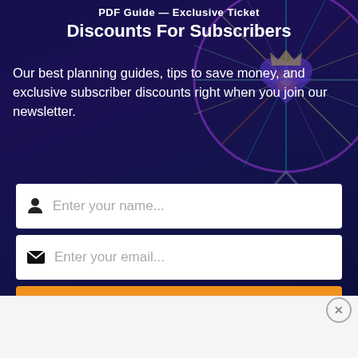[Figure (illustration): Dark blue/purple background with a colorful illuminated ferris wheel and decorative neon lights, partially visible background image]
Discounts For Subscribers
Our best planning guides, tips to save money, and exclusive subscriber discounts right when you join our newsletter.
Enter your name...
Enter your email...
JOIN NOW!
Related Posts